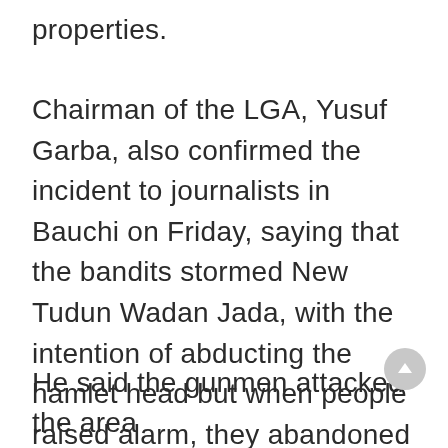properties.
Chairman of the LGA, Yusuf Garba, also confirmed the incident to journalists in Bauchi on Friday, saying that the bandits stormed New Tudun Wadan Jada, with the intention of abducting the hamlet head but when people raised alarm, they abandoned their mission and fled.
He said the gunmen attacked the area